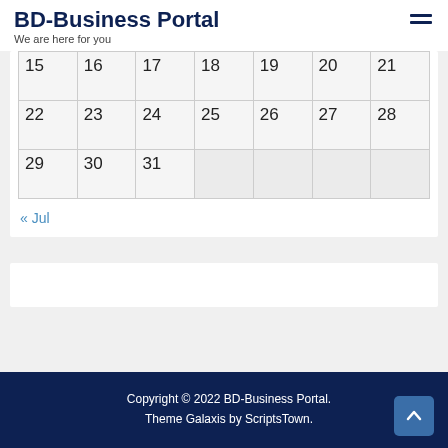BD-Business Portal
We are here for you
| 15 | 16 | 17 | 18 | 19 | 20 | 21 |
| 22 | 23 | 24 | 25 | 26 | 27 | 28 |
| 29 | 30 | 31 |  |  |  |  |
« Jul
Copyright © 2022 BD-Business Portal. Theme Galaxis by ScriptsTown.